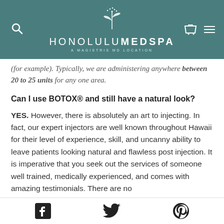HONOLULU MEDSPA — A MAGISTRIS MD LOCATION
(for example). Typically, we are administering anywhere between 20 to 25 units for any one area.
Can I use BOTOX® and still have a natural look?
YES. However, there is absolutely an art to injecting. In fact, our expert injectors are well known throughout Hawaii for their level of experience, skill, and uncanny ability to leave patients looking natural and flawless post injection. It is imperative that you seek out the services of someone well trained, medically experienced, and comes with amazing testimonials. There are no
Facebook | Twitter | Pinterest